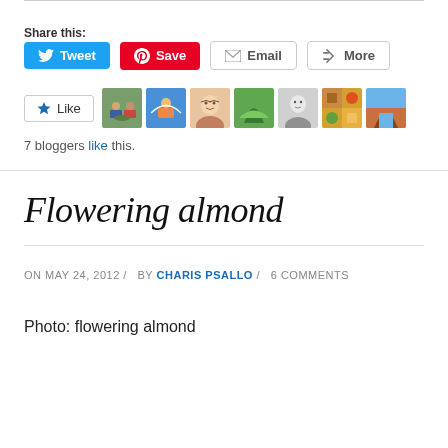Share this:
[Figure (screenshot): Social share buttons: Tweet (blue), Save (red/Pinterest), Email (grey), More (grey)]
[Figure (screenshot): Like button with star icon and 7 blogger avatar thumbnails]
7 bloggers like this.
Flowering almond
ON MAY 24, 2012 / BY CHARIS PSALLO / 6 COMMENTS
Photo: flowering almond